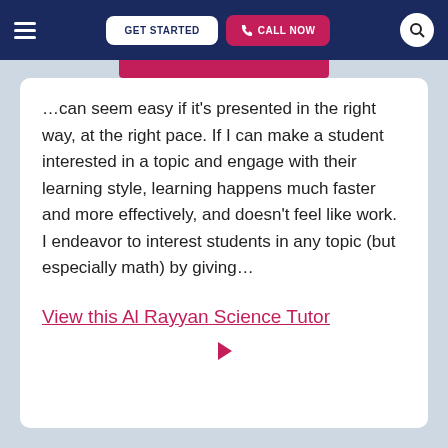GET STARTED | CALL NOW
…can seem easy if it's presented in the right way, at the right pace. If I can make a student interested in a topic and engage with their learning style, learning happens much faster and more effectively, and doesn't feel like work. I endeavor to interest students in any topic (but especially math) by giving…
View this Al Rayyan Science Tutor